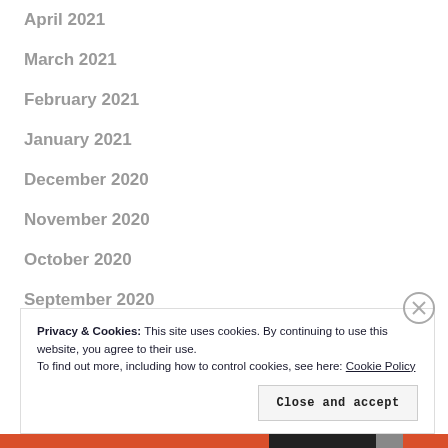April 2021
March 2021
February 2021
January 2021
December 2020
November 2020
October 2020
September 2020
August 2020
Privacy & Cookies: This site uses cookies. By continuing to use this website, you agree to their use.
To find out more, including how to control cookies, see here: Cookie Policy
Close and accept